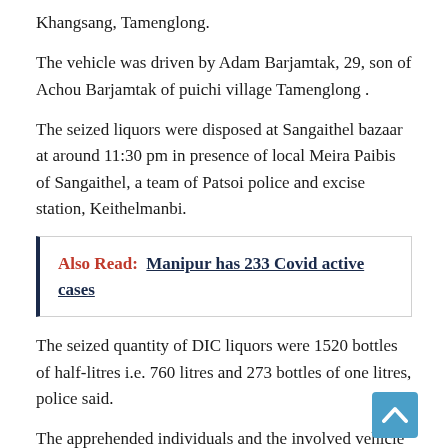Khangsang, Tamenglong.
The vehicle was driven by Adam Barjamtak, 29, son of Achou Barjamtak of puichi village Tamenglong .
The seized liquors were disposed at Sangaithel bazaar at around 11:30 pm in presence of local Meira Paibis of Sangaithel, a team of Patsoi police and excise station, Keithelmanbi.
Also Read: Manipur has 233 Covid active cases
The seized quantity of DIC liquors were 1520 bottles of half-litres i.e. 760 litres and 273 bottles of one litres, police said.
The apprehended individuals and the involved vehicle were handed over to Patsoi Police station for